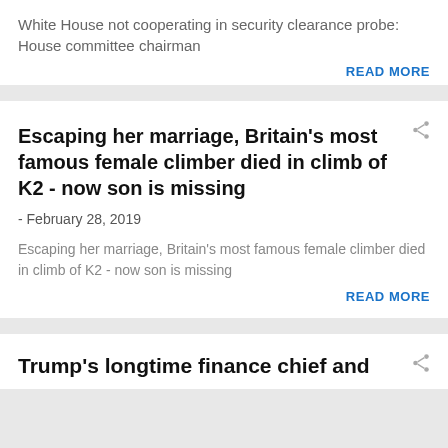White House not cooperating in security clearance probe: House committee chairman
READ MORE
Escaping her marriage, Britain's most famous female climber died in climb of K2 - now son is missing
- February 28, 2019
Escaping her marriage, Britain's most famous female climber died in climb of K2 - now son is missing
READ MORE
Trump's longtime finance chief and